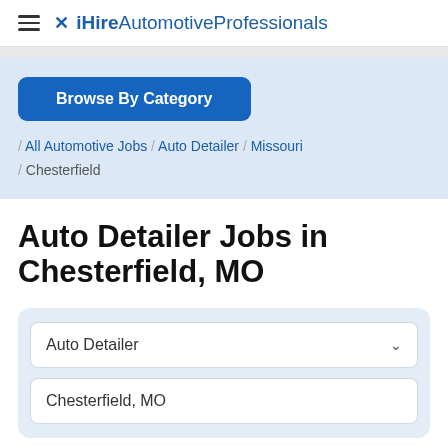iHireAutomotiveProfessionals
Browse By Category
/ All Automotive Jobs / Auto Detailer / Missouri / Chesterfield
Auto Detailer Jobs in Chesterfield, MO
Auto Detailer
Chesterfield, MO